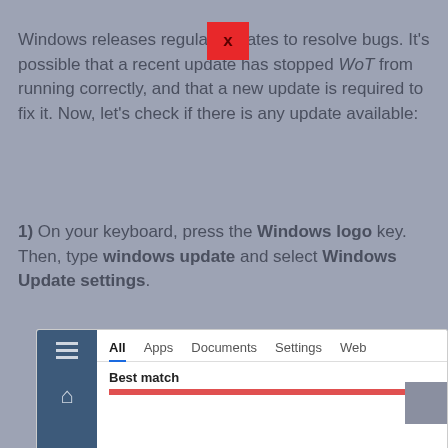Windows releases regular updates to resolve bugs. It's possible that a recent update has stopped WoT from running correctly, and that a new update is required to fix it. Now, let's check if there is any update available:
1) On your keyboard, press the Windows logo key. Then, type windows update and select Windows Update settings.
[Figure (screenshot): Windows search bar screenshot showing tabs: All, Apps, Documents, Settings, Web. 'All' tab is active with blue underline. 'Best match' section header is visible below the tabs. A red result bar appears at the bottom.]